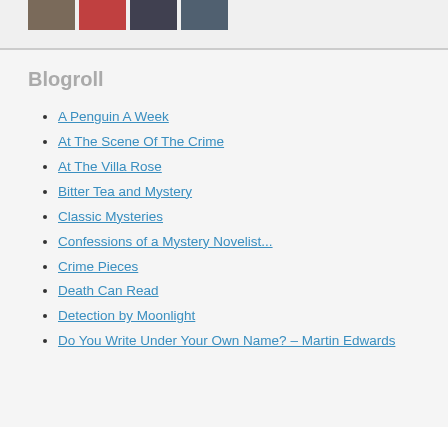[Figure (photo): Strip of four small portrait/photo thumbnails partially visible at top of page]
Blogroll
A Penguin A Week
At The Scene Of The Crime
At The Villa Rose
Bitter Tea and Mystery
Classic Mysteries
Confessions of a Mystery Novelist...
Crime Pieces
Death Can Read
Detection by Moonlight
Do You Write Under Your Own Name? – Martin Edwards